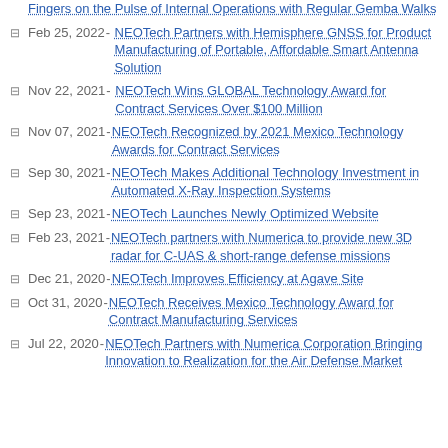Fingers on the Pulse of Internal Operations with Regular Gemba Walks
Feb 25, 2022 - NEOTech Partners with Hemisphere GNSS for Product Manufacturing of Portable, Affordable Smart Antenna Solution
Nov 22, 2021 - NEOTech Wins GLOBAL Technology Award for Contract Services Over $100 Million
Nov 07, 2021 - NEOTech Recognized by 2021 Mexico Technology Awards for Contract Services
Sep 30, 2021 - NEOTech Makes Additional Technology Investment in Automated X-Ray Inspection Systems
Sep 23, 2021 - NEOTech Launches Newly Optimized Website
Feb 23, 2021 - NEOTech partners with Numerica to provide new 3D radar for C-UAS & short-range defense missions
Dec 21, 2020 - NEOTech Improves Efficiency at Agave Site
Oct 31, 2020 - NEOTech Receives Mexico Technology Award for Contract Manufacturing Services
Jul 22, 2020 - NEOTech Partners with Numerica Corporation Bringing Innovation to Realization for the Air Defense Market